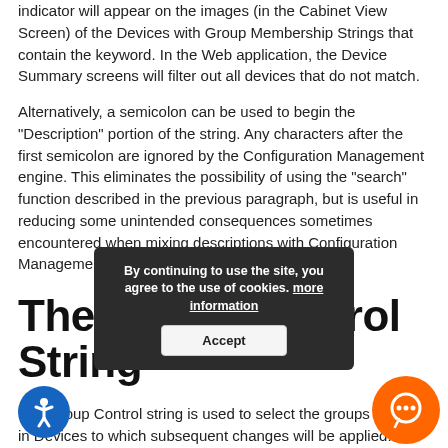indicator will appear on the images (in the Cabinet View Screen) of the Devices with Group Membership Strings that contain the keyword. In the Web application, the Device Summary screens will filter out all devices that do not match.
Alternatively, a semicolon can be used to begin the "Description" portion of the string. Any characters after the first semicolon are ignored by the Configuration Management engine. This eliminates the possibility of using the "search" function described in the previous paragraph, but is useful in reducing some unintended consequences sometimes encountered when mixing descriptions with Configuration Management keywords.
The Group Control String
The Group Control string is used to select the groups of Slide-in Devices to which subsequent changes will be applied. Groups will be changed by changing the contents of the Group Control String text entry box on the Focal Point or Web application, or by changing the contents of the MIB variable